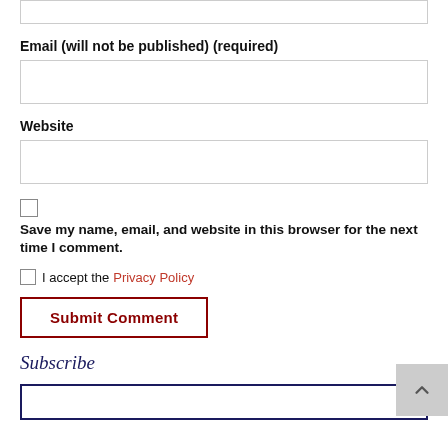Email (will not be published) (required)
Website
Save my name, email, and website in this browser for the next time I comment.
I accept the Privacy Policy
Submit Comment
Subscribe